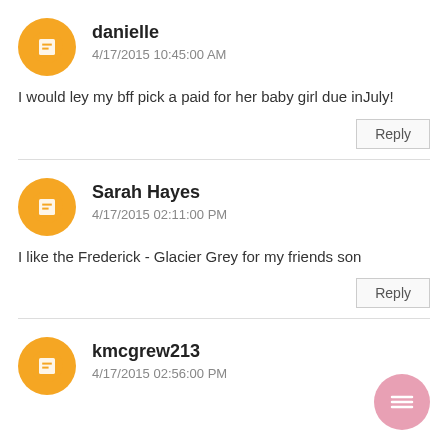danielle
4/17/2015 10:45:00 AM
I would ley my bff pick a paid for her baby girl due inJuly!
Reply
Sarah Hayes
4/17/2015 02:11:00 PM
I like the Frederick - Glacier Grey for my friends son
Reply
kmcgrew213
4/17/2015 02:56:00 PM